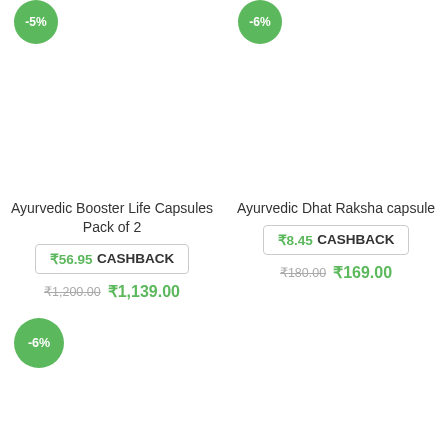[Figure (other): Discount badge showing -5% in green circle, top left product]
[Figure (other): Discount badge showing -6% in green circle, top right product]
Ayurvedic Booster Life Capsules Pack of 2
₹56.95 CASHBACK
₹1,200.00 ₹1,139.00
Ayurvedic Dhat Raksha capsule
₹8.45 CASHBACK
₹180.00 ₹169.00
[Figure (other): Discount badge showing -6% in green circle, bottom left product]